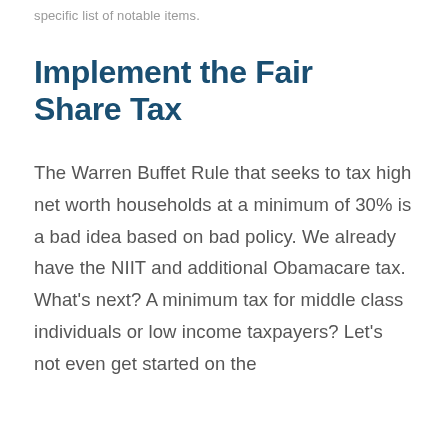specific list of notable items.
Implement the Fair Share Tax
The Warren Buffet Rule that seeks to tax high net worth households at a minimum of 30% is a bad idea based on bad policy. We already have the NIIT and additional Obamacare tax. What's next? A minimum tax for middle class individuals or low income taxpayers? Let's not even get started on the